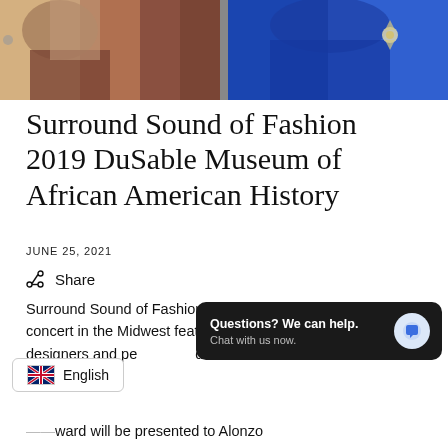[Figure (photo): Banner photo showing fashion models — left side shows warm-toned outfit, right side shows blue outfit with decorative brooch]
Surround Sound of Fashion 2019 DuSable Museum of African American History
JUNE 25, 2021
Share
Surround Sound of Fashion is the hottest fashion show and concert in the Midwest featuring some of the hottest models, designers and pe... do not want to
[Figure (screenshot): Chat widget overlay: 'Questions? We can help. Chat with us now.' with a blue chat bubble icon on dark background]
English
...ward will be presented to Alonzo